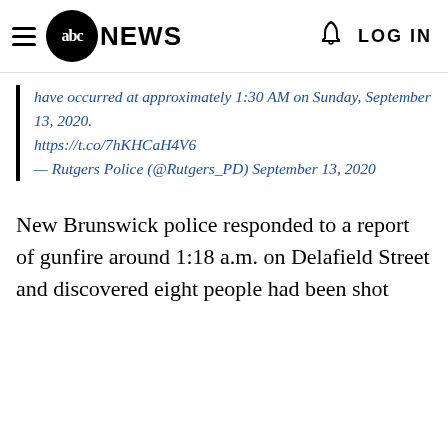abc NEWS  LOG IN
have occurred at approximately 1:30 AM on Sunday, September 13, 2020. https://t.co/7hKHCaH4V6 — Rutgers Police (@Rutgers_PD) September 13, 2020
New Brunswick police responded to a report of gunfire around 1:18 a.m. on Delafield Street and discovered eight people had been shot